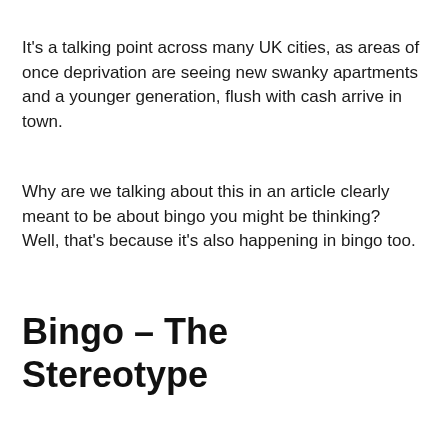It's a talking point across many UK cities, as areas of once deprivation are seeing new swanky apartments and a younger generation, flush with cash arrive in town.
Why are we talking about this in an article clearly meant to be about bingo you might be thinking? Well, that's because it's also happening in bingo too.
Bingo – The Stereotype